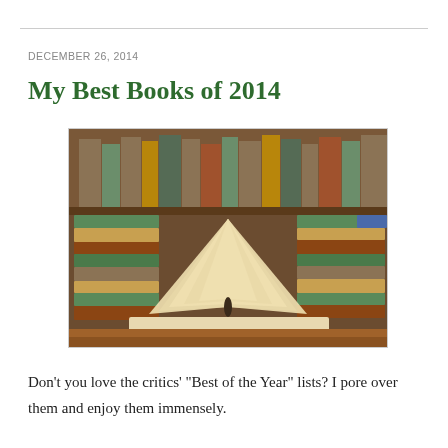DECEMBER 26, 2014
My Best Books of 2014
[Figure (photo): Photograph of multiple open and stacked books on a wooden surface with bookshelves in the background]
Don’t you love the critics’ “Best of the Year” lists? I pore over them and enjoy them immensely.